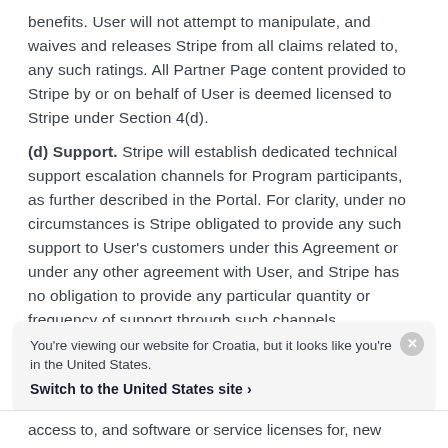benefits. User will not attempt to manipulate, and waives and releases Stripe from all claims related to, any such ratings. All Partner Page content provided to Stripe by or on behalf of User is deemed licensed to Stripe under Section 4(d).
(d) Support. Stripe will establish dedicated technical support escalation channels for Program participants, as further described in the Portal. For clarity, under no circumstances is Stripe obligated to provide any such support to User's customers under this Agreement or under any other agreement with User, and Stripe has no obligation to provide any particular quantity or frequency of support through such channels.
You're viewing our website for Croatia, but it looks like you're in the United States.
Switch to the United States site ›
access to, and software or service licenses for, new